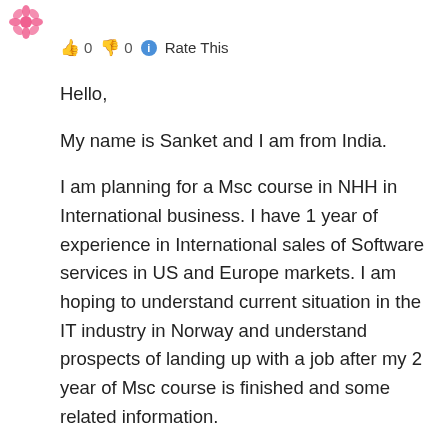[Figure (illustration): Pink flower/snowflake emoji avatar icon in top left corner]
👍 0 👎 0 ℹ Rate This
Hello,
My name is Sanket and I am from India.
I am planning for a Msc course in NHH in International business. I have 1 year of experience in International sales of Software services in US and Europe markets. I am hoping to understand current situation in the IT industry in Norway and understand prospects of landing up with a job after my 2 year of Msc course is finished and some related information.
Thanks for helping.
Regards,